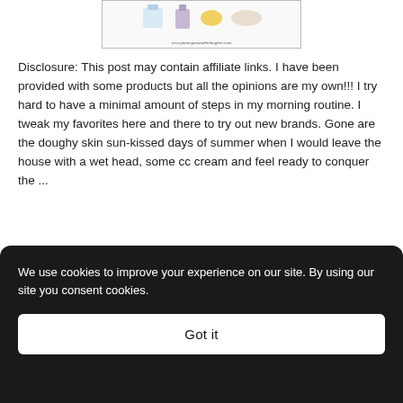[Figure (photo): Product image with several beauty/cosmetic product containers, with URL www.fanneganandthehughes.com at bottom]
Disclosure: This post may contain affiliate links.  I have been provided with some products but all the opinions are my own!!! I try hard to have a minimal amount of steps in my morning routine.  I tweak my favorites here and there to try out new brands. Gone are the doughy skin sun-kissed days of summer when I would leave the house with a wet head, some cc cream and feel ready to conquer the ...
READ MORE »
We use cookies to improve your experience on our site. By using our site you consent cookies.
Got it